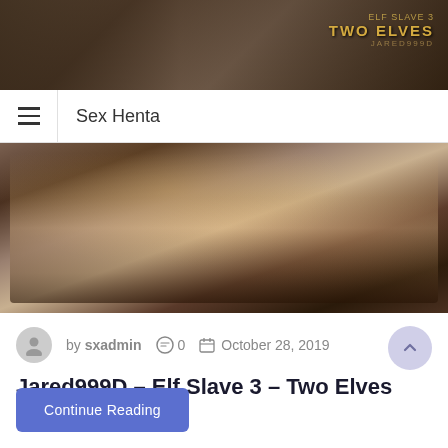[Figure (screenshot): Top banner image showing 3D rendered fantasy scene with text 'ELF SLAVE 3 TWO ELVES' in gold lettering]
Sex Henta
[Figure (screenshot): Main 3D rendered fantasy scene image]
by sxadmin   0   October 28, 2019
Jared999D – Elf Slave 3 – Two Elves
Pages: 319 Size: 169 MB
Continue Reading